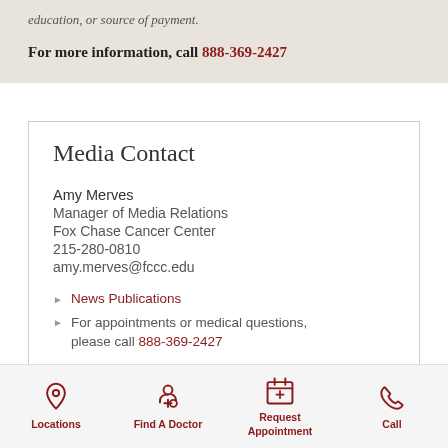education, or source of payment.
For more information, call 888-369-2427
Media Contact
Amy Merves
Manager of Media Relations
Fox Chase Cancer Center
215-280-0810
amy.merves@fccc.edu
News Publications
For appointments or medical questions, please call 888-369-2427
Locations | Find A Doctor | Request Appointment | Call